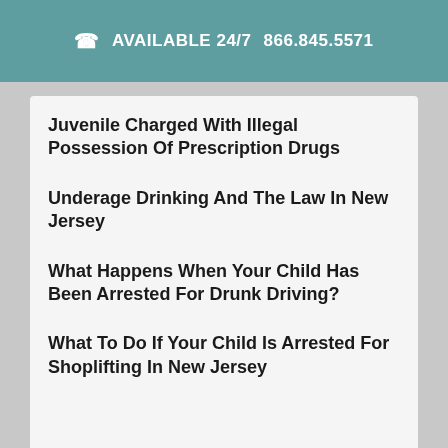AVAILABLE 24/7   866.845.5571
Juvenile Charged With Illegal Possession Of Prescription Drugs
Underage Drinking And The Law In New Jersey
What Happens When Your Child Has Been Arrested For Drunk Driving?
What To Do If Your Child Is Arrested For Shoplifting In New Jersey